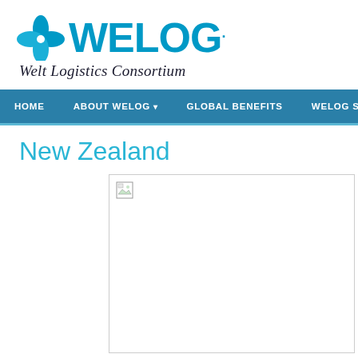[Figure (logo): WELOG - Welt Logistics Consortium logo with blue fan/flower icon and teal WELOG text and italic tagline]
HOME   ABOUT WELOG   GLOBAL BENEFITS   WELOG SERVICES
New Zealand
[Figure (photo): Image placeholder (broken image) for New Zealand content photo]